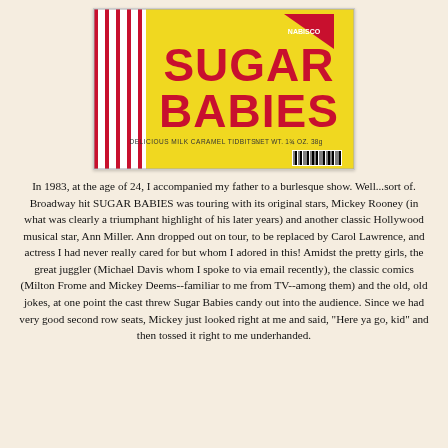[Figure (photo): A yellow Sugar Babies candy bag by Nabisco with large red bold text reading 'SUGAR BABIES', smaller text 'DELICIOUS MILK CARAMEL TIDBITS. NET WT. 1¾ OZ. 38g', red and white striped pattern on the left side, and a barcode at the bottom right.]
In 1983, at the age of 24, I accompanied my father to a burlesque show. Well...sort of. Broadway hit SUGAR BABIES was touring with its original stars, Mickey Rooney (in what was clearly a triumphant highlight of his later years) and another classic Hollywood musical star, Ann Miller. Ann dropped out on tour, to be replaced by Carol Lawrence, and actress I had never really cared for but whom I adored in this! Amidst the pretty girls, the great juggler (Michael Davis whom I spoke to via email recently), the classic comics (Milton Frome and Mickey Deems--familiar to me from TV--among them) and the old, old jokes, at one point the cast threw Sugar Babies candy out into the audience. Since we had very good second row seats, Mickey just looked right at me and said, "Here ya go, kid" and then tossed it right to me underhanded.